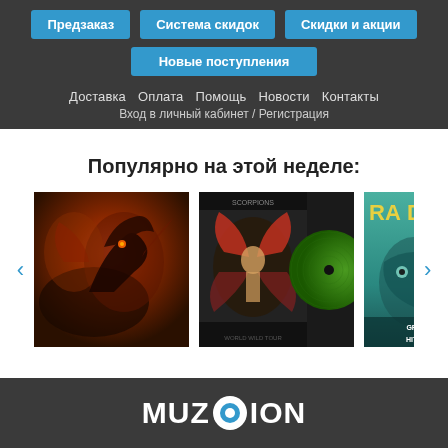Предзаказ   Система скидок   Скидки и акции
Новые поступления
Доставка   Оплата   Помощь   Новости   Контакты
Вход в личный кабинет / Регистрация
Популярно на этой неделе:
[Figure (photo): Carousel of album covers: first album with dark red/brown fantasy artwork (dragon-like creature), second album is Scorpions with green vinyl record visible, third album partially visible with teal cover and text RAD, GREATEST HITS]
MUZOION logo